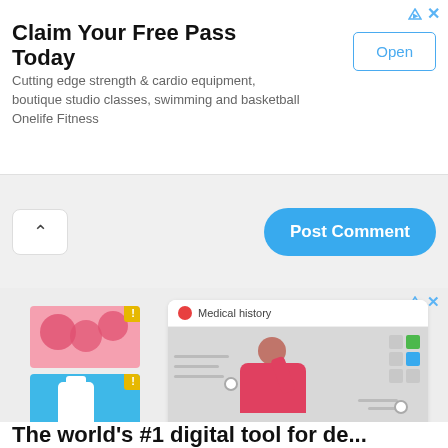[Figure (screenshot): Advertisement banner: 'Claim Your Free Pass Today' with Open button. Text: Cutting edge strength & cardio equipment, boutique studio classes, swimming and basketball Onelife Fitness]
[Figure (screenshot): Post Comment UI section with caret/collapse button on left and blue 'Post Comment' rounded button on right, on light gray background]
[Figure (illustration): Advertisement showing medical/health app illustration: blood cells image with notification badge, medicine bottle image with notification badge on left; medical history interface with person in red shirt on right. Gray background.]
The world's #1 digital tool for de...